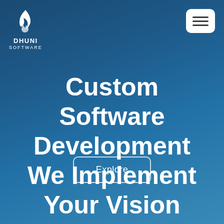[Figure (logo): Dhuni Software logo with flame icon in white, company name DHUNI SOFTWARE below]
[Figure (other): Hamburger menu button (three horizontal lines) on white rounded rectangle background]
Custom Software Development We Implement Your Vision
Explore